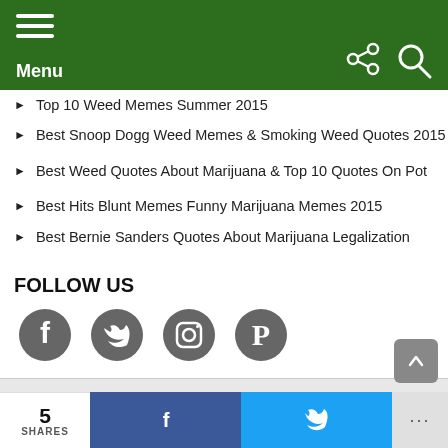Menu
Top 10 Weed Memes Summer 2015
Best Snoop Dogg Weed Memes & Smoking Weed Quotes 2015
Best Weed Quotes About Marijuana & Top 10 Quotes On Pot
Best Hits Blunt Memes Funny Marijuana Memes 2015
Best Bernie Sanders Quotes About Marijuana Legalization
FOLLOW US
[Figure (illustration): Social media icons: Facebook, Twitter, Instagram, Pinterest]
© 2017 WeedMemes.com. Designed by DispensaryWebDesign.com
Home   Featured   All Weed Memes
5 SHARES